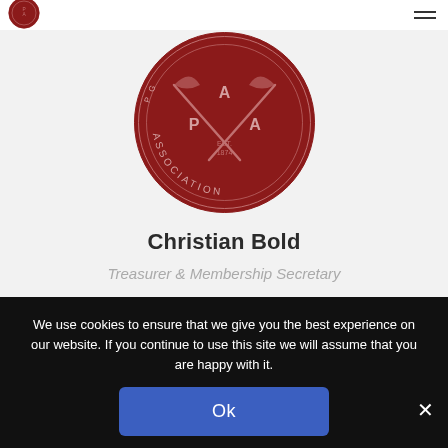[Figure (logo): Small circular red association logo in top-left navigation bar]
[Figure (logo): Large circular red association logo with crossed nets and letters P, A, A, EST. 1874, ASSOCIATION text around the border]
Christian Bold
Treasurer & Membership Secretary
07790 800338
We use cookies to ensure that we give you the best experience on our website. If you continue to use this site we will assume that you are happy with it.